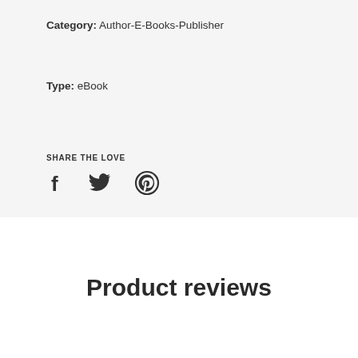Category: Author-E-Books-Publisher
Type: eBook
SHARE THE LOVE
[Figure (infographic): Social media share icons: Facebook (f), Twitter (bird), Pinterest (p circular)]
Product reviews